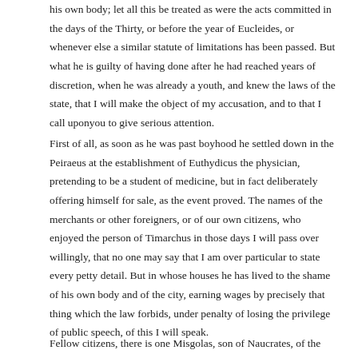his own body; let all this be treated as were the acts committed in the days of the Thirty, or before the year of Eucleides, or whenever else a similar statute of limitations has been passed. But what he is guilty of having done after he had reached years of discretion, when he was already a youth, and knew the laws of the state, that I will make the object of my accusation, and to that I call uponyou to give serious attention.
First of all, as soon as he was past boyhood he settled down in the Peiraeus at the establishment of Euthydicus the physician, pretending to be a student of medicine, but in fact deliberately offering himself for sale, as the event proved. The names of the merchants or other foreigners, or of our own citizens, who enjoyed the person of Timarchus in those days I will pass over willingly, that no one may say that I am over particular to state every petty detail. But in whose houses he has lived to the shame of his own body and of the city, earning wages by precisely that thing which the law forbids, under penalty of losing the privilege of public speech, of this I will speak.
Fellow citizens, there is one Misgolas, son of Naucrates, of the deme